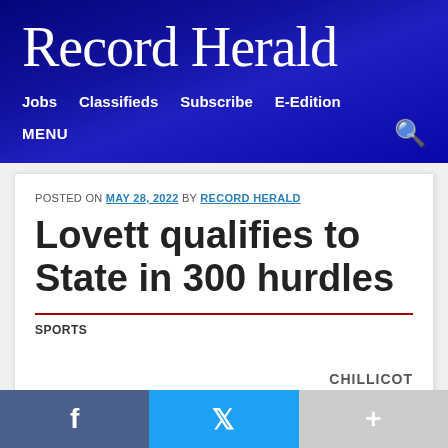Record Herald
Jobs  Classifieds  Subscribe  E-Edition
MENU
POSTED ON MAY 28, 2022 BY RECORD HERALD
Lovett qualifies to State in 300 hurdles
SPORTS
CHILLICOT